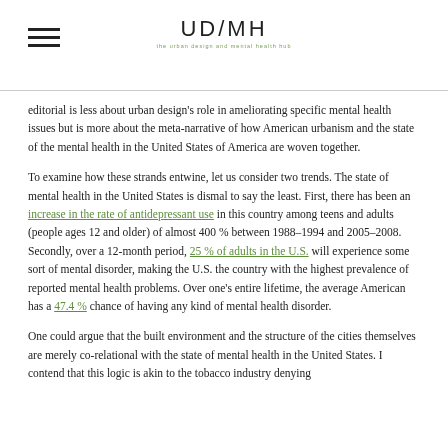UD/MH
editorial is less about urban design's role in ameliorating specific mental health issues but is more about the meta-narrative of how American urbanism and the state of the mental health in the United States of America are woven together.
To examine how these strands entwine, let us consider two trends. The state of mental health in the United States is dismal to say the least. First, there has been an increase in the rate of antidepressant use in this country among teens and adults (people ages 12 and older) of almost 400 % between 1988–1994 and 2005–2008. Secondly, over a 12-month period, 25 % of adults in the U.S. will experience some sort of mental disorder, making the U.S. the country with the highest prevalence of reported mental health problems. Over one's entire lifetime, the average American has a 47.4 % chance of having any kind of mental health disorder.
One could argue that the built environment and the structure of the cities themselves are merely co-relational with the state of mental health in the United States. I contend that this logic is akin to the tobacco industry denying